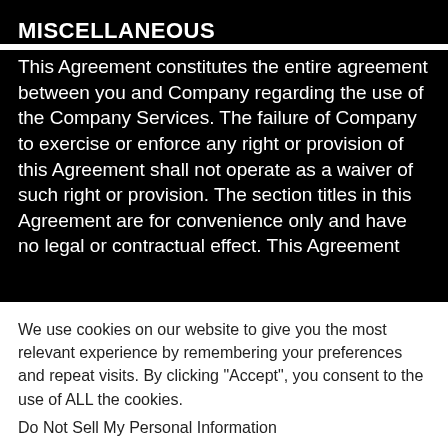MISCELLANEOUS
This Agreement constitutes the entire agreement between you and Company regarding the use of the Company Services. The failure of Company to exercise or enforce any right or provision of this Agreement shall not operate as a waiver of such right or provision. The section titles in this Agreement are for convenience only and have no legal or contractual effect. This Agreement
We use cookies on our website to give you the most relevant experience by remembering your preferences and repeat visits. By clicking "Accept", you consent to the use of ALL the cookies.
Do Not Sell My Personal Information
Cookie Settings
Accept
Reject All
🇺🇸 English
🇪🇸 Spanish